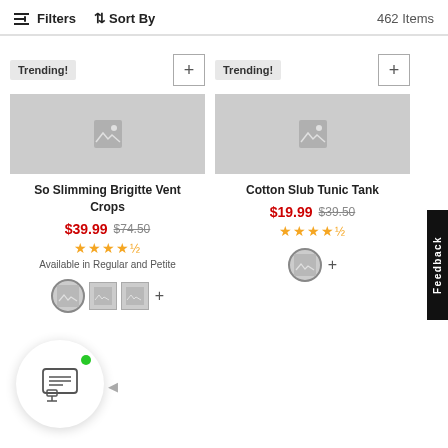Filters  Sort By  462 Items
Trending!
So Slimming Brigitte Vent Crops
$39.99  $74.50
★★★★½
Available in Regular and Petite
Trending!
Cotton Slub Tunic Tank
$19.99  $39.50
★★★★½
Feedback